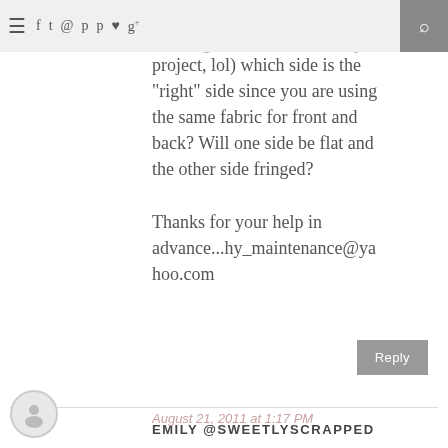Navigation bar with menu, social icons, and search
of the fabric (I'm new to sewing, well this will be my first project, lol) which side is the "right" side since you are using the same fabric for front and back? Will one side be flat and the other side fringed?

Thanks for your help in advance...hy_maintenance@yahoo.com
Reply
EMILY @SWEETLYSCRAPPED
August 21, 2011 at 1:17 PM